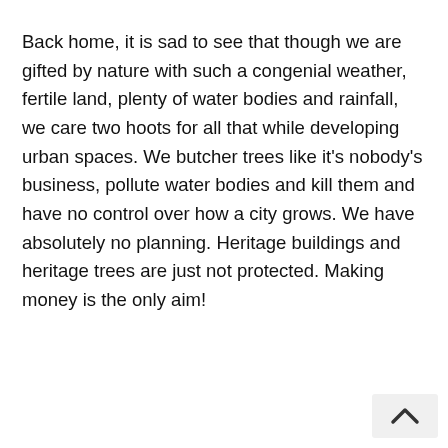Back home, it is sad to see that though we are gifted by nature with such a congenial weather, fertile land, plenty of water bodies and rainfall, we care two hoots for all that while developing urban spaces. We butcher trees like it's nobody's business, pollute water bodies and kill them and have no control over how a city grows. We have absolutely no planning. Heritage buildings and heritage trees are just not protected. Making money is the only aim!